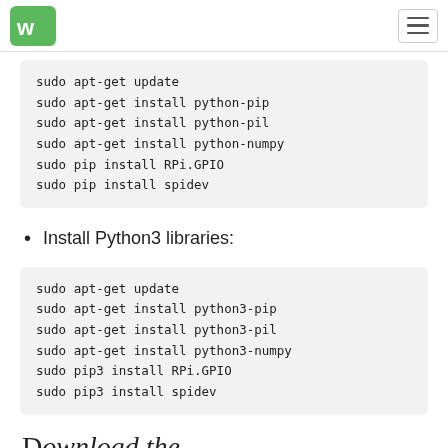Waveshare logo and navigation menu
sudo apt-get update
sudo apt-get install python-pip
sudo apt-get install python-pil
sudo apt-get install python-numpy
sudo pip install RPi.GPIO
sudo pip install spidev
Install Python3 libraries:
sudo apt-get update
sudo apt-get install python3-pip
sudo apt-get install python3-pil
sudo apt-get install python3-numpy
sudo pip3 install RPi.GPIO
sudo pip3 install spidev
Download the...